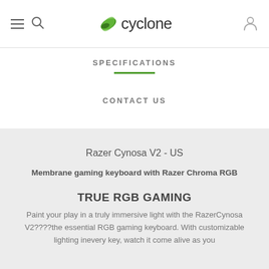cyclone — navigation header with hamburger, search, logo, and user icon
SPECIFICATIONS
CONTACT US
Razer Cynosa V2 - US
Membrane gaming keyboard with Razer Chroma RGB
TRUE RGB GAMING
Paint your play in a truly immersive light with the RazerCynosa V2????the essential RGB gaming keyboard. With customizable lighting inevery key, watch it come alive as you